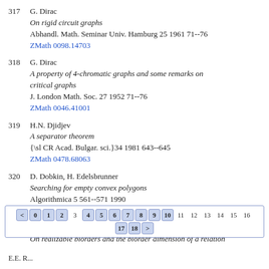317 G. Dirac
On rigid circuit graphs
Abhandl. Math. Seminar Univ. Hamburg 25 1961 71--76
ZMath 0098.14703
318 G. Dirac
A property of 4-chromatic graphs and some remarks on critical graphs
J. London Math. Soc. 27 1952 71--76
ZMath 0046.41001
319 H.N. Djidjev
A separator theorem
{\sl CR Acad. Bulgar. sci.}34 1981 643--645
ZMath 0478.68063
320 D. Dobkin, H. Edelsbrunner
Searching for empty convex polygons
Algorithmica 5 561--571 1990
ZMath 0697.68034
321 J.--P. Doignon
On realizable biorders and the biorder dimension of a relation
[Figure (other): Pagination navigation bar with page number buttons: <, 0, 1, 2, 3, 4, 5, 6, 7, 8, 9, 10, 11, 12, 13, 14, 15, 16, 17, 18, >]
E.E. R...